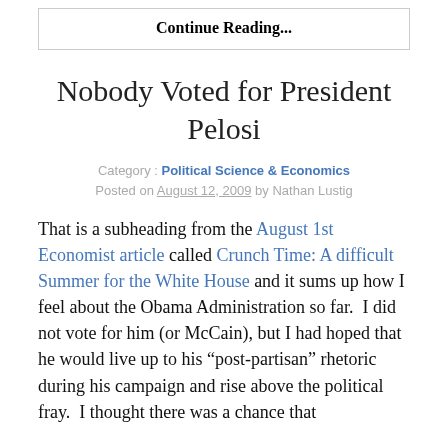Continue Reading...
Nobody Voted for President Pelosi
Category : Political Science & Economics
Posted on August 12, 2009 by Nathan Lustig
That is a subheading from the August 1st Economist article called Crunch Time: A difficult Summer for the White House and it sums up how I feel about the Obama Administration so far.  I did not vote for him (or McCain), but I had hoped that he would live up to his “post-partisan” rhetoric during his campaign and rise above the political fray.  I thought there was a chance that